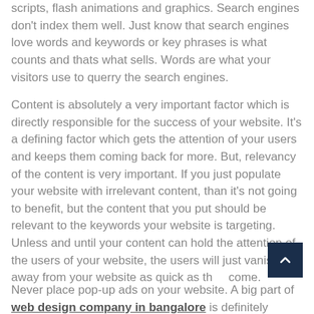scripts, flash animations and graphics. Search engines don't index them well. Just know that search engines love words and keywords or key phrases is what counts and thats what sells. Words are what your visitors use to querry the search engines.
Content is absolutely a very important factor which is directly responsible for the success of your website. It's a defining factor which gets the attention of your users and keeps them coming back for more. But, relevancy of the content is very important. If you just populate your website with irrelevant content, than it's not going to benefit, but the content that you put should be relevant to the keywords your website is targeting. Unless and until your content can hold the attention of the users of your website, the users will just vanish away from your website as quick as they come.
Never place pop-up ads on your website. A big part of web design company in bangalore is definitely integrating PPC ads